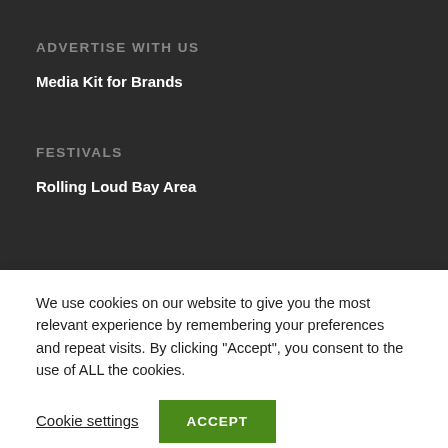ADVERTISE WITH US
Media Kit for Brands
FESTIVALS
Rolling Loud Bay Area
We use cookies on our website to give you the most relevant experience by remembering your preferences and repeat visits. By clicking “Accept”, you consent to the use of ALL the cookies.
Cookie settings
ACCEPT